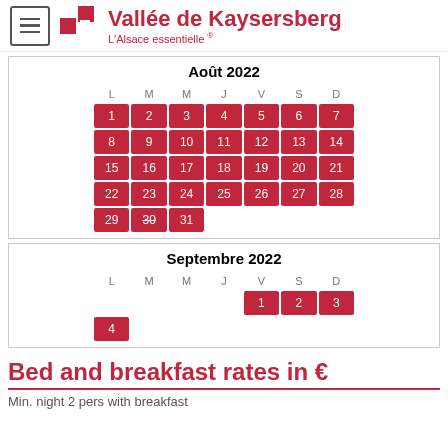Vallée de Kaysersberg — L'Alsace essentielle
Août 2022
| L | M | M | J | V | S | D |
| --- | --- | --- | --- | --- | --- | --- |
| 1 | 2 | 3 | 4 | 5 | 6 | 7 |
| 8 | 9 | 10 | 11 | 12 | 13 | 14 |
| 15 | 16 | 17 | 18 | 19 | 20 | 21 |
| 22 | 23 | 24 | 25 | 26 | 27 | 28 |
| 29 | 30 | 31 |  |  |  |  |
Septembre 2022
| L | M | M | J | V | S | D |
| --- | --- | --- | --- | --- | --- | --- |
|  |  |  |  | 1 | 2 | 3 | 4 |
Bed and breakfast rates in €
Min. night 2 pers with breakfast